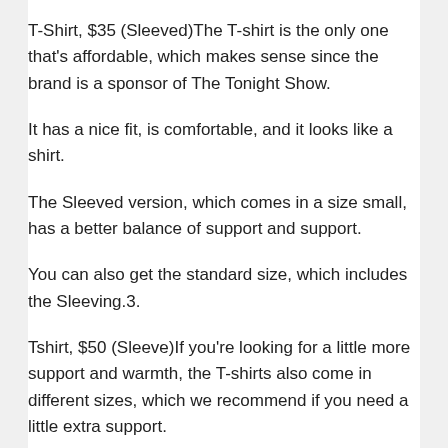T-Shirt, $35 (Sleeved)The T-shirt is the only one that's affordable, which makes sense since the brand is a sponsor of The Tonight Show.
It has a nice fit, is comfortable, and it looks like a shirt.
The Sleeved version, which comes in a size small, has a better balance of support and support.
You can also get the standard size, which includes the Sleeving.3.
Tshirt, $50 (Sleeve)If you're looking for a little more support and warmth, the T-shirts also come in different sizes, which we recommend if you need a little extra support.
It comes in sizes small, medium, and large.4.